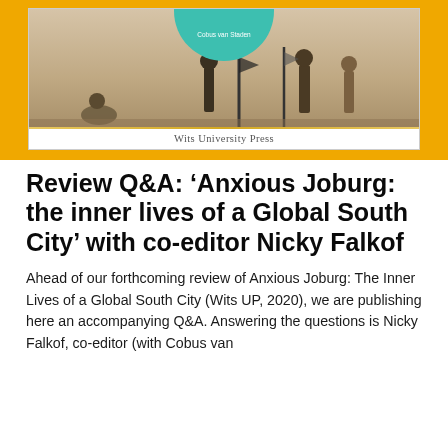[Figure (photo): Book cover of 'Anxious Joburg: The Inner Lives of a Global South City' published by Wits University Press, shown inside a golden/amber border. The cover features a photograph of people walking on a street, with a teal circular badge at the top showing the author name 'Cobus van Staden'. The publisher name 'Wits University Press' appears at the bottom of the cover.]
Review Q&A: ‘Anxious Joburg: the inner lives of a Global South City’ with co-editor Nicky Falkof
Ahead of our forthcoming review of Anxious Joburg: The Inner Lives of a Global South City (Wits UP, 2020), we are publishing here an accompanying Q&A. Answering the questions is Nicky Falkof, co-editor (with Cobus van